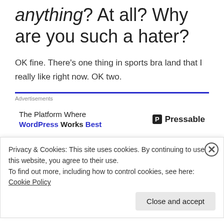anything? At all? Why are you such a hater?
OK fine. There's one thing in sports bra land that I really like right now. OK two.
[Figure (other): Advertisement banner: The Platform Where WordPress Works Best — Pressable]
First one is the leather look. Or lustrous look. Holy
Privacy & Cookies: This site uses cookies. By continuing to use this website, you agree to their use.
To find out more, including how to control cookies, see here: Cookie Policy
Close and accept